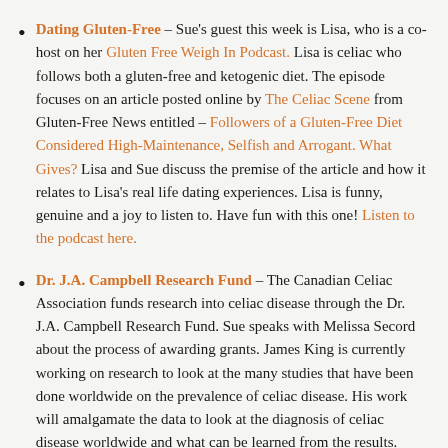Dating Gluten-Free – Sue's guest this week is Lisa, who is a co-host on her Gluten Free Weigh In Podcast. Lisa is celiac who follows both a gluten-free and ketogenic diet. The episode focuses on an article posted online by The Celiac Scene from Gluten-Free News entitled – Followers of a Gluten-Free Diet Considered High-Maintenance, Selfish and Arrogant. What Gives? Lisa and Sue discuss the premise of the article and how it relates to Lisa's real life dating experiences. Lisa is funny, genuine and a joy to listen to. Have fun with this one! Listen to the podcast here.
Dr. J.A. Campbell Research Fund – The Canadian Celiac Association funds research into celiac disease through the Dr. J.A. Campbell Research Fund. Sue speaks with Melissa Secord about the process of awarding grants. James King is currently working on research to look at the many studies that have been done worldwide on the prevalence of celiac disease. His work will amalgamate the data to look at the diagnosis of celiac disease worldwide and what can be learned from the results. Further, he is interested in...